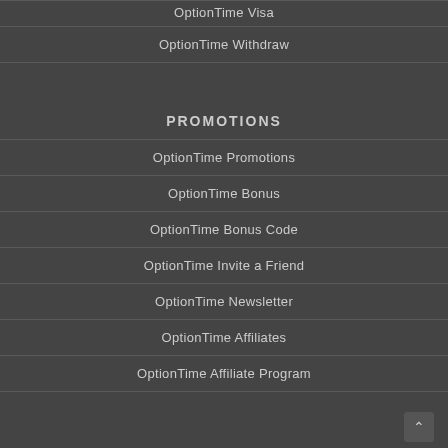OptionTime Visa
OptionTime Withdraw
PROMOTIONS
OptionTime Promotions
OptionTime Bonus
OptionTime Bonus Code
OptionTime Invite a Friend
OptionTime Newsletter
OptionTime Affiliates
OptionTime Affiliate Program